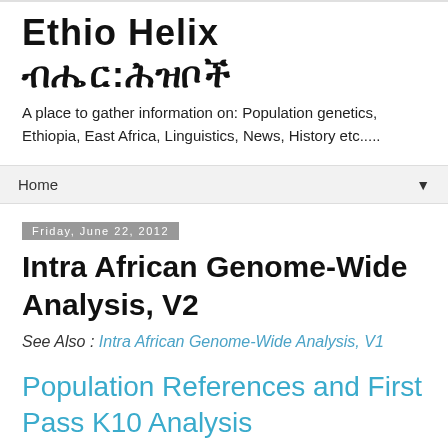Ethio Helix ብሔር:ሕዝቦች
A place to gather information on: Population genetics, Ethiopia, East Africa, Linguistics, News, History etc.....
Home ▼
Friday, June 22, 2012
Intra African Genome-Wide Analysis, V2
See Also : Intra African Genome-Wide Analysis, V1
Population References and First Pass K10 Analysis